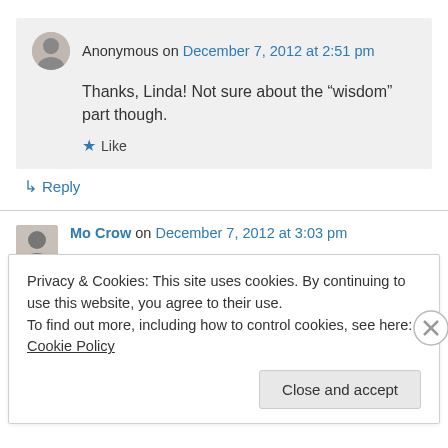Anonymous on December 7, 2012 at 2:51 pm
Thanks, Linda! Not sure about the “wisdom” part though.
★ Like
↳ Reply
Mo Crow on December 7, 2012 at 3:03 pm
Privacy & Cookies: This site uses cookies. By continuing to use this website, you agree to their use. To find out more, including how to control cookies, see here: Cookie Policy
Close and accept